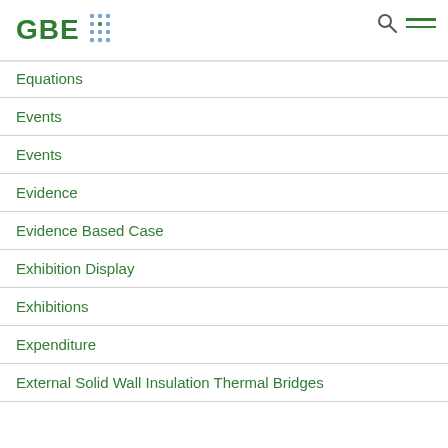GBE
Equations
Events
Events
Evidence
Evidence Based Case
Exhibition Display
Exhibitions
Expenditure
External Solid Wall Insulation Thermal Bridges